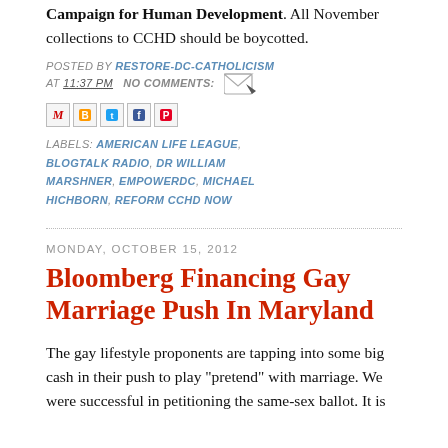Campaign for Human Development. All November collections to CCHD should be boycotted.
POSTED BY RESTORE-DC-CATHOLICISM
AT 11:37 PM   NO COMMENTS:
[Figure (other): Social share icons: email, blogger, twitter, facebook, pinterest]
LABELS: AMERICAN LIFE LEAGUE, BLOGTALK RADIO, DR WILLIAM MARSHNER, EMPOWERDC, MICHAEL HICHBORN, REFORM CCHD NOW
MONDAY, OCTOBER 15, 2012
Bloomberg Financing Gay Marriage Push In Maryland
The gay lifestyle proponents are tapping into some big cash in their push to play "pretend" with marriage.  We were successful in petitioning the same-sex ballot. It is...